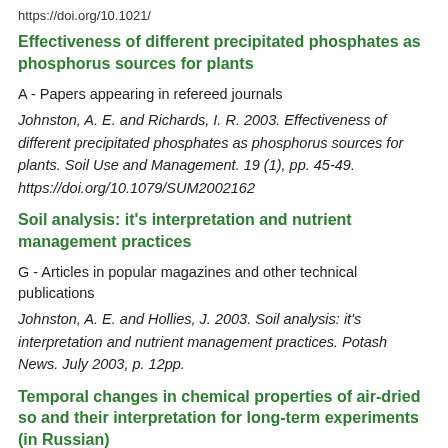https://doi.org/10.1021/...
Effectiveness of different precipitated phosphates as phosphorus sources for plants
A - Papers appearing in refereed journals
Johnston, A. E. and Richards, I. R. 2003. Effectiveness of different precipitated phosphates as phosphorus sources for plants. Soil Use and Management. 19 (1), pp. 45-49. https://doi.org/10.1079/SUM2002162
Soil analysis: it's interpretation and nutrient management practices
G - Articles in popular magazines and other technical publications
Johnston, A. E. and Hollies, J. 2003. Soil analysis: it's interpretation and nutrient management practices. Potash News. July 2003, p. 12pp.
Temporal changes in chemical properties of air-dried so and their interpretation for long-term experiments (in Russian)
S - Doctoral theses and dissertations